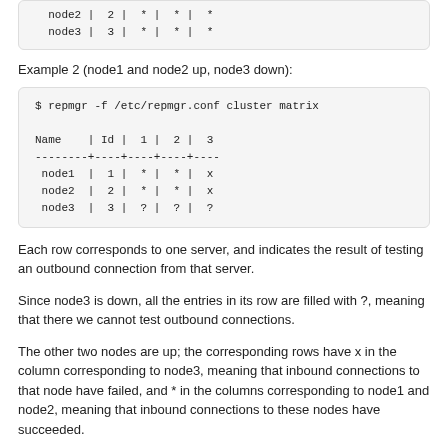[Figure (screenshot): Top clipped code box showing node2 and node3 rows of a cluster matrix output]
Example 2 (node1 and node2 up, node3 down):
[Figure (screenshot): Code box showing: $ repmgr -f /etc/repmgr.conf cluster matrix with Name/Id/1/2/3 columns, dashes separator, node1|1|*|*|x, node2|2|*|*|x, node3|3|?|?|?]
Each row corresponds to one server, and indicates the result of testing an outbound connection from that server.
Since node3 is down, all the entries in its row are filled with ?, meaning that there we cannot test outbound connections.
The other two nodes are up; the corresponding rows have x in the column corresponding to node3, meaning that inbound connections to that node have failed, and * in the columns corresponding to node1 and node2, meaning that inbound connections to these nodes have succeeded.
Example 3 (all nodes up, firewall dropping packets originating from node1